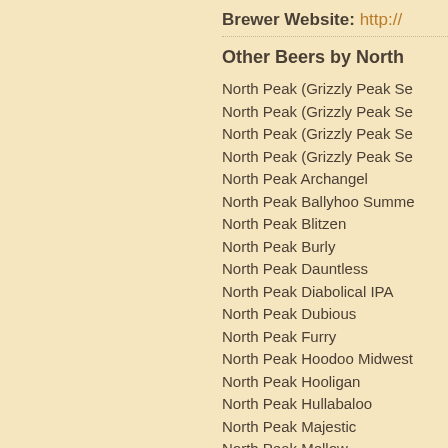Brewer Website: http://...
Other Beers by North...
North Peak (Grizzly Peak Se...
North Peak (Grizzly Peak Se...
North Peak (Grizzly Peak Se...
North Peak (Grizzly Peak Se...
North Peak Archangel
North Peak Ballyhoo Summe...
North Peak Blitzen
North Peak Burly
North Peak Dauntless
North Peak Diabolical IPA
North Peak Dubious
North Peak Furry
North Peak Hoodoo Midwest...
North Peak Hooligan
North Peak Hullabaloo
North Peak Majestic
North Peak Mellow
North Peak Perilous